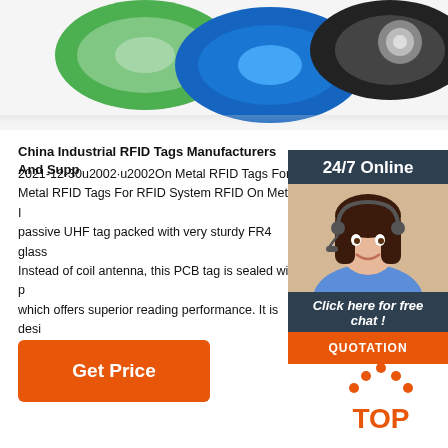[Figure (photo): Photo of colorful RFID key fob tags in green, blue, black, and silver colors arranged together]
China Industrial RFID Tags Manufacturers And Supp
2021-12-30u2002·u2002On Metal RFID Tags For R Metal RFID Tags For RFID System RFID On Metal I passive UHF tag packed with very sturdy FR4 glass Instead of coil antenna, this PCB tag is sealed with p which offers superior reading performance. It is desi mounted on the surface of metal...
[Figure (photo): 24/7 Online chat widget with a female customer service representative wearing a headset, with Click here for free chat text and a QUOTATION button]
Get Price
[Figure (illustration): TOP back-to-top icon with orange dots arranged in an arch above orange TOP text]